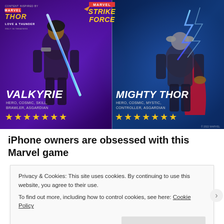[Figure (illustration): Marvel Strike Force game advertisement showing Valkyrie (left, Hero/Cosmic/Skill/Brawler/Asgardian, 7 stars) and Mighty Thor (right, Hero/Cosmic/Mystic/Controller/Asgardian, 7 stars) characters against a purple/blue cosmic background, with Thor: Love and Thunder movie tie-in branding top left and Marvel Strike Force logo top center.]
iPhone owners are obsessed with this Marvel game
Privacy & Cookies: This site uses cookies. By continuing to use this website, you agree to their use.
To find out more, including how to control cookies, see here: Cookie Policy